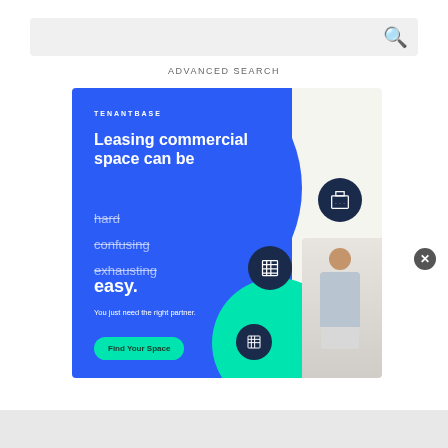[Figure (screenshot): Search bar with magnifying glass icon on light gray background]
ADVANCED SEARCH
[Figure (infographic): TenantBase advertisement banner. Blue background with large circle. Text: 'Leasing commercial space can be hard (strikethrough), confusing (strikethrough), exhausting (strikethrough), easy.' Tagline: 'You just need the right partner.' Green 'Find Your Space' button. Building icons in dark navy circles. Person with laptop on right side. Teal accent circle.]
[Figure (other): Close (X) button overlay on bottom-right of ad]